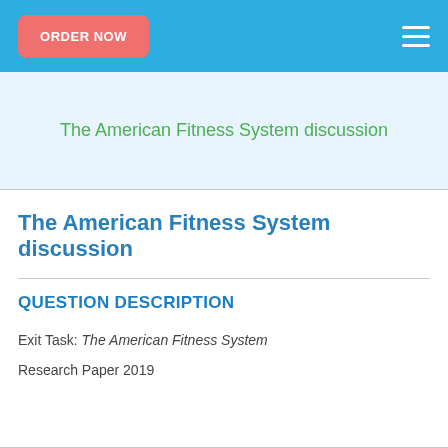ORDER NOW
The American Fitness System discussion
The American Fitness System discussion
QUESTION DESCRIPTION
Exit Task: The American Fitness System
Research Paper 2019